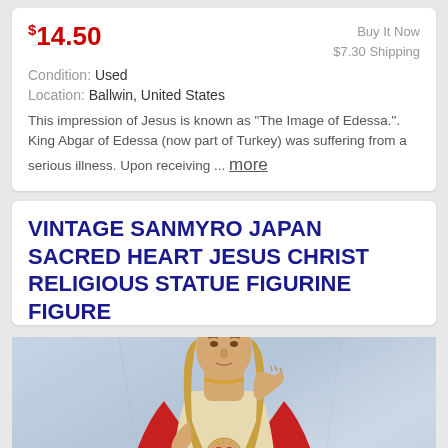$14.50
Buy It Now
$7.30 Shipping
Condition: Used
Location: Ballwin, United States
This impression of Jesus is known as “The Image of Edessa.”. King Abgar of Edessa (now part of Turkey) was suffering from a serious illness. Upon receiving ... more
VINTAGE SANMYRO JAPAN SACRED HEART JESUS CHRIST RELIGIOUS STATUE FIGURINE FIGURE
[Figure (photo): A ceramic/porcelain figurine of Jesus Christ with Sacred Heart, wearing cream and red robes, right hand raised in blessing, against a light blue-grey draped background]